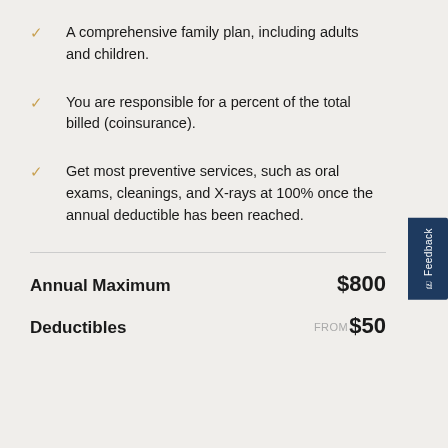A comprehensive family plan, including adults and children.
You are responsible for a percent of the total billed (coinsurance).
Get most preventive services, such as oral exams, cleanings, and X-rays at 100% once the annual deductible has been reached.
|  |  |
| --- | --- |
| Annual Maximum | $800 |
| Deductibles | FROM $50 |